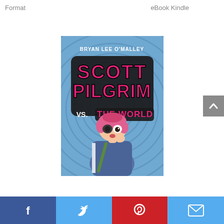| Format | eBook Kindle |
| --- | --- |
[Figure (illustration): Book cover of 'Scott Pilgrim vs. The World' by Bryan Lee O'Malley. Blue spiral background, pink-haired anime-style girl character, large stylized title text in pink and black.]
[Figure (infographic): Social sharing bar with Facebook, Twitter, Pinterest, and Email buttons. Scroll-to-top arrow button on right side.]